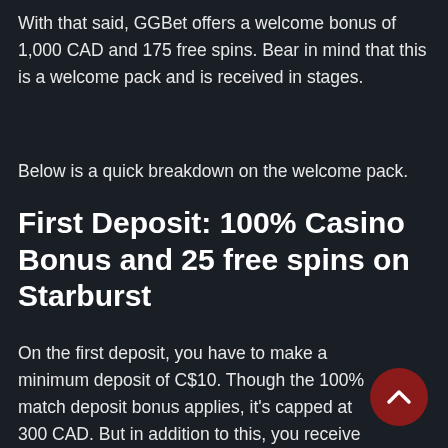With that said, GGBet offers a welcome bonus of 1,000 CAD and 175 free spins. Bear in mind that this is a welcome pack and is received in stages.
Below is a quick breakdown on the welcome pack.
First Deposit: 100% Casino Bonus and 25 free spins on Starburst
On the first deposit, you have to make a minimum deposit of C$10. Though the 100% match deposit bonus applies, it's capped at 300 CAD. But in addition to this, you receive 25 free spins to use in the Starburst slot game.